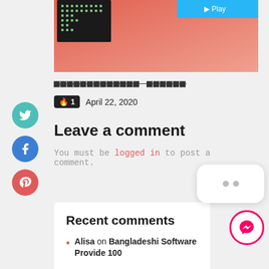[Figure (photo): Partial view of a hardware chip on a coral/salmon colored gradient background with a blue rectangular element in the top right corner]
▨▨▨▨▨▨▨▨▨▨▨▨▨ ▨▨▨▨▨▨
🔥 1  April 22, 2020
Leave a comment
You must be logged in to post a comment.
Recent comments
Alisa on Bangladeshi Software Provide 100